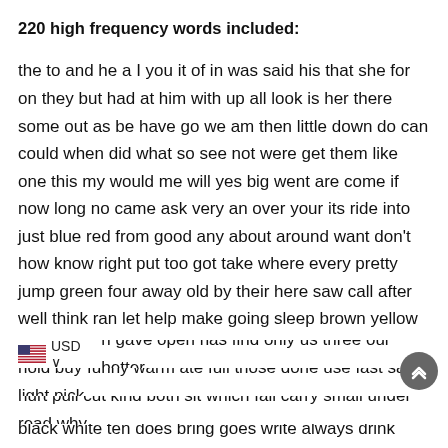220 high frequency words included:
the to and he a I you it of in was said his that she for on they but had at him with up all look is her there some out as be have go we am then little down do can could when did what so see not were get them like one this my would me will yes big went are come if now long no came ask very an over your its ride into just blue red from good any about around want don't how know right put too got take where every pretty jump green four away old by their here saw call after well think ran let help make going sleep brown yellow five six walk two or before eat again play who been may stop off never seven eight cold today fly myself round tell much keep give work first try new must start black white ten does bring goes write always drink once soon gave open has find only us three our better hold buy funny warm ate full those done use fast say light pick hurt pull cut kind both sit which fall carry small under read why